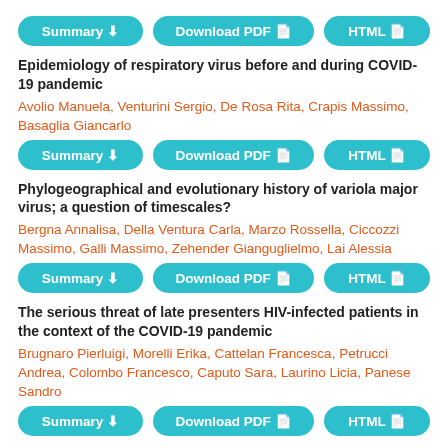Summary | Download PDF | HTML
Epidemiology of respiratory virus before and during COVID-19 pandemic
Avolio Manuela, Venturini Sergio, De Rosa Rita, Crapis Massimo, Basaglia Giancarlo
Summary | Download PDF | HTML
Phylogeographical and evolutionary history of variola major virus; a question of timescales?
Bergna Annalisa, Della Ventura Carla, Marzo Rossella, Ciccozzi Massimo, Galli Massimo, Zehender Gianguglielmo, Lai Alessia
Summary | Download PDF | HTML
The serious threat of late presenters HIV-infected patients in the context of the COVID-19 pandemic
Brugnaro Pierluigi, Morelli Erika, Cattelan Francesca, Petrucci Andrea, Colombo Francesco, Caputo Sara, Laurino Licia, Panese Sandro
Summary | Download PDF | HTML